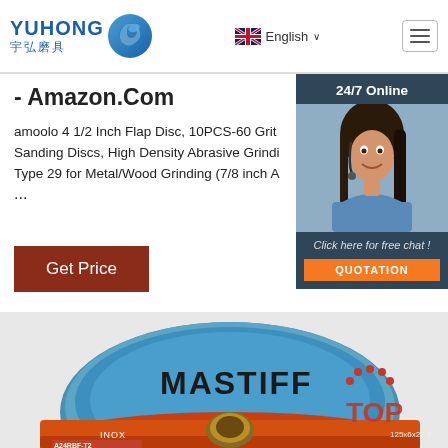YUHONG 宇弘磨具 | English | Navigation
- Amazon.Com
amoolo 4 1/2 Inch Flap Disc, 10PCS-60 Grit Sanding Discs, High Density Abrasive Grindi Type 29 for Metal/Wood Grinding (7/8 inch A ...
Get Price
[Figure (photo): Woman with headset smiling - 24/7 Online customer service photo with 'Click here for free chat!' and 'QUOTATION' button]
[Figure (photo): MASTIFF brand grinding/cutting disc (125x6x22.2, A24RBF-T2, INOX) - blue and orange colored abrasive disc with center hole visible]